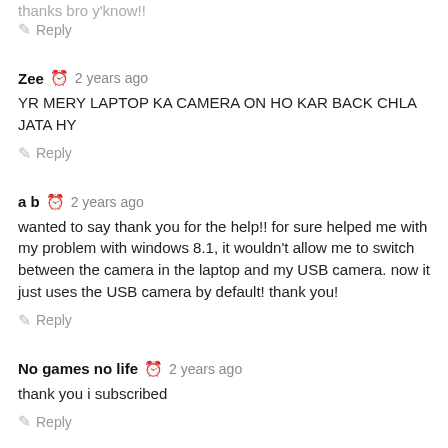thanks bro y'know!!
Reply
Zee  2 years ago
YR MERY LAPTOP KA CAMERA ON HO KAR BACK CHLA JATA HY
Reply
a b  2 years ago
wanted to say thank you for the help!! for sure helped me with my problem with windows 8.1, it wouldn't allow me to switch between the camera in the laptop and my USB camera. now it just uses the USB camera by default! thank you!
Reply
No games no life  2 years ago
thank you i subscribed
Reply